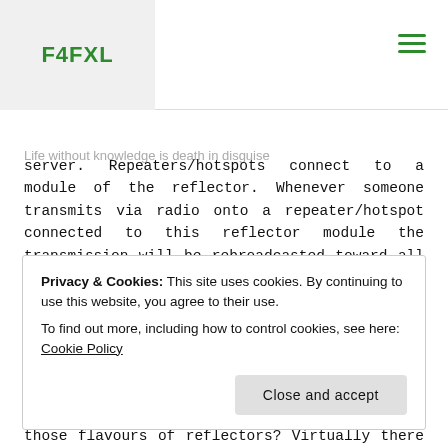F4FXL
Life without knowledge is death in disguise server. Repeaters/hotspots connect to a module of the reflector. Whenever someone transmits via radio onto a repeater/hotspot connected to this reflector module the transmission will be rebroadcasted toward all other repeaters/hotspots connected to that same reflector. The transmission gets reflected to all connected repeaters/hotspots, hence the name reflector module.
Ok now, what is the difference between all those flavours of reflectors? Virtually there is no difference or, at least, not for the people who are just using them.
Privacy & Cookies: This site uses cookies. By continuing to use this website, you agree to their use.
To find out more, including how to control cookies, see here: Cookie Policy